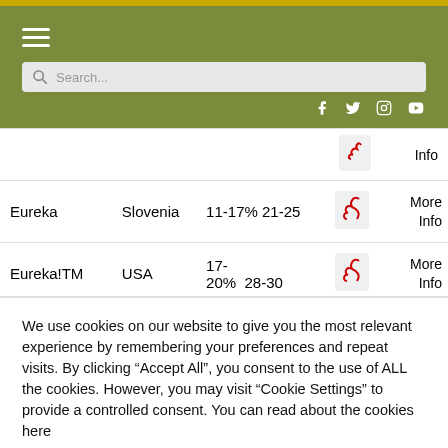Navigation header with hamburger menu, search bar, and social icons (Facebook, Twitter, Instagram, YouTube)
| Name | Country | Purity | Maturity |  | Action |
| --- | --- | --- | --- | --- | --- |
|  |  |  |  |  | Info |
| Eureka | Slovenia | 11-17% | 21-25 | [PDF] | More Info |
| Eureka!TM | USA | 17-20% | 28-30 | [PDF] | More Info |
We use cookies on our website to give you the most relevant experience by remembering your preferences and repeat visits. By clicking “Accept All”, you consent to the use of ALL the cookies. However, you may visit “Cookie Settings” to provide a controlled consent. You can read about the cookies here
Cookie Settings
Accept All